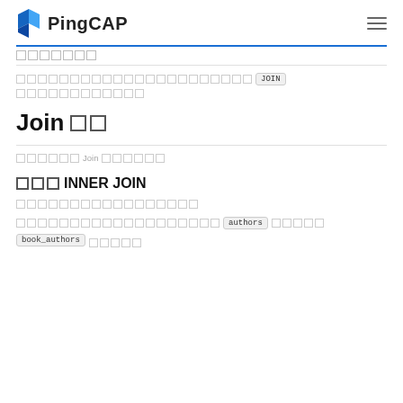PingCAP
[breadcrumb] JOIN [breadcrumb]
Join 语句
本章介绍 Join 的使用方法。
使用 INNER JOIN
以下为一个简单的使用示例。
现假设有两张表，分别为 authors 表和 book_authors 表。